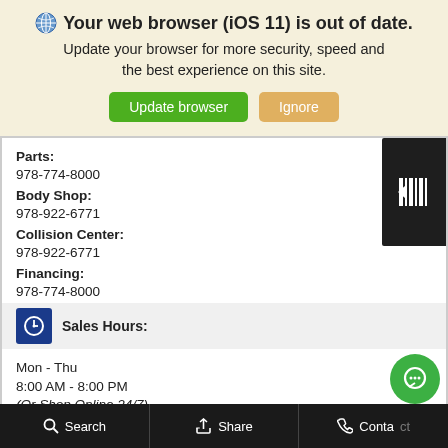[Figure (screenshot): Browser out of date warning banner with globe icon, update browser and ignore buttons]
Parts:
978-774-8000
Body Shop:
978-922-6771
Collision Center:
978-922-6771
Financing:
978-774-8000
Sales Hours:
Mon - Thu
8:00 AM - 8:00 PM
(Or Shop Online 24/7)
Fri - Sat
8:00 AM - 6:00 PM
Search   Share   Contact